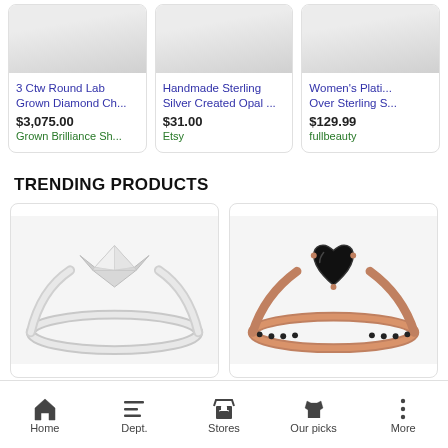[Figure (screenshot): Product card image: 3 Ctw Round Lab Grown Diamond Ch... - silver diamond ring on white background]
3 Ctw Round Lab Grown Diamond Ch...
$3,075.00
Grown Brilliance Sh...
[Figure (screenshot): Product card image: Handmade Sterling Silver Created Opal ... - ring on white background]
Handmade Sterling Silver Created Opal ...
$31.00
Etsy
[Figure (screenshot): Product card image: Women's Plati... Over Sterling S... - ring on white background]
Women's Plati... Over Sterling S...
$129.99
fullbeauty
TRENDING PRODUCTS
[Figure (photo): Trending product 1: Silver solitaire diamond ring on white background]
[Figure (photo): Trending product 2: Rose gold ring with black heart-shaped stone and black pave band]
Home | Dept. | Stores | Our picks | More